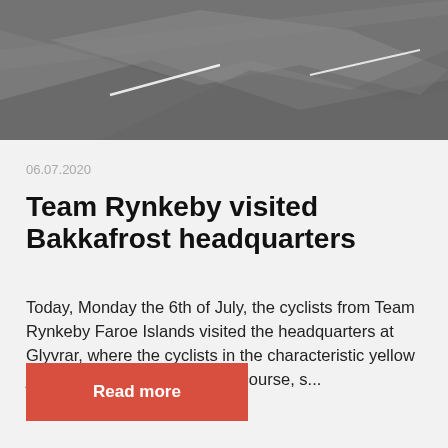[Figure (photo): Aerial grayscale photograph showing landscape with roads or paths, viewed from above.]
06.07.2020
Team Rynkeby visited Bakkafrost headquarters
Today, Monday the 6th of July, the cyclists from Team Rynkeby Faroe Islands visited the headquarters at Glyvrar, where the cyclists in the characteristic yellow jerseys stopped for lunch. Of course, s...
Read more